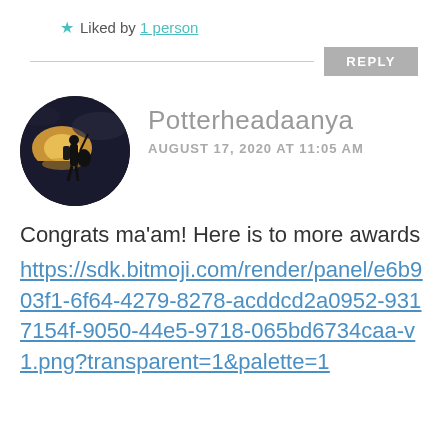★ Liked by 1 person
REPLY
[Figure (photo): Circular avatar photo of a person silhouetted against a sunset/sunrise sky, holding a guitar, at the water's edge.]
Potterheadaanya
AUGUST 17, 2020 AT 11:05 AM
Congrats ma'am! Here is to more awards
https://sdk.bitmoji.com/render/panel/e6b903f1-6f64-4279-8278-acddcd2a0952-9317154f-9050-44e5-9718-065bd6734caa-v1.png?transparent=1&palette=1